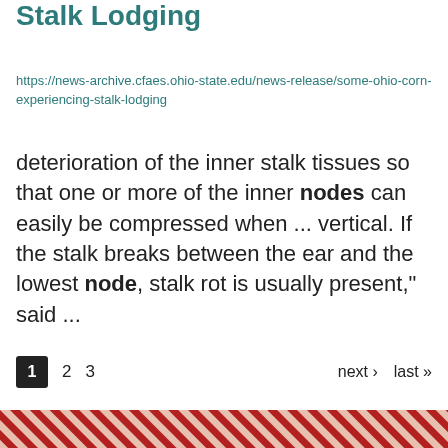Stalk Lodging
https://news-archive.cfaes.ohio-state.edu/news-release/some-ohio-corn-experiencing-stalk-lodging
deterioration of the inner stalk tissues so that one or more of the inner nodes can easily be compressed when ... vertical. If the stalk breaks between the ear and the lowest node, stalk rot is usually present," said ...
1  2  3  next › last »